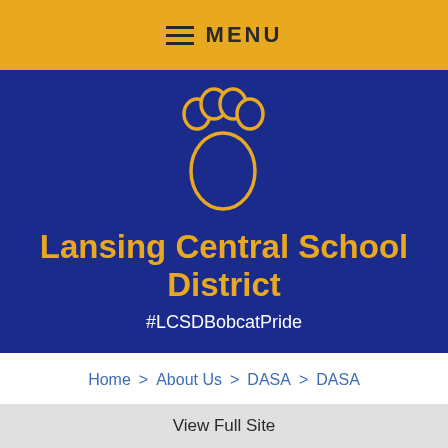MENU
[Figure (logo): Lansing Central School District bobcat paw print logo in blue and gold on navy background]
Lansing Central School District
#LCSDBobcatPride
Home > About Us > DASA > DASA
DASA
View Full Site